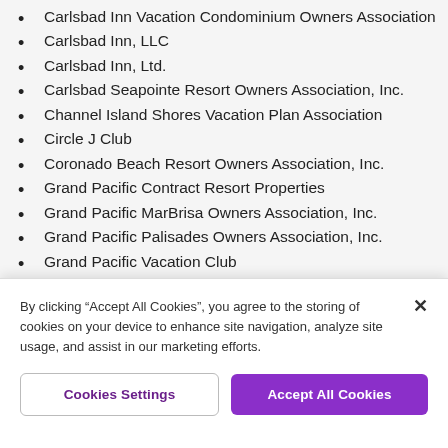Carlsbad Inn Vacation Condominium Owners Association
Carlsbad Inn, LLC
Carlsbad Inn, Ltd.
Carlsbad Seapointe Resort Owners Association, Inc.
Channel Island Shores Vacation Plan Association
Circle J Club
Coronado Beach Resort Owners Association, Inc.
Grand Pacific Contract Resort Properties
Grand Pacific MarBrisa Owners Association, Inc.
Grand Pacific Palisades Owners Association, Inc.
Grand Pacific Vacation Club
By clicking “Accept All Cookies”, you agree to the storing of cookies on your device to enhance site navigation, analyze site usage, and assist in our marketing efforts.
The Makai Club